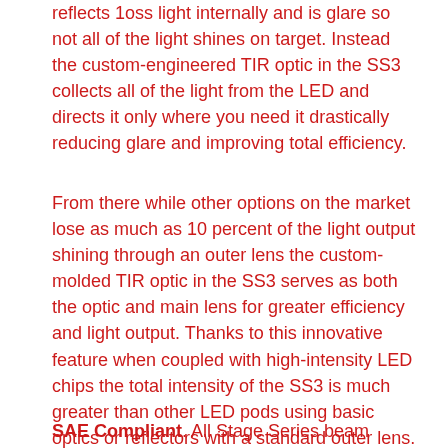reflects 1oss light internally and is glare so not all of the light shines on target. Instead the custom-engineered TIR optic in the SS3 collects all of the light from the LED and directs it only where you need it drastically reducing glare and improving total efficiency.
From there while other options on the market lose as much as 10 percent of the light output shining through an outer lens the custom-molded TIR optic in the SS3 serves as both the optic and main lens for greater efficiency and light output. Thanks to this innovative feature when coupled with high-intensity LED chips the total intensity of the SS3 is much greater than other LED pods using basic optics or reflectors with a standard outer lens.
SAE Compliant. All Stage Series beam pattern